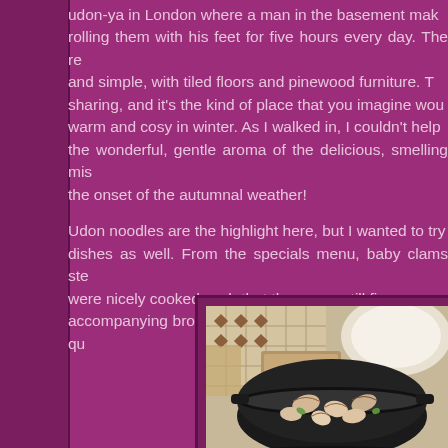udon-ya in London where a man in the basement makes them, rolling them with his feet for five hours every day. The restaurant is simple, with tiled floors and pinewood furniture. Tables are for sharing, and it's the kind of place that you imagine would be warm and cosy in winter. As I walked in, I couldn't help but notice the wonderful, gentle aroma of the delicious, smelling miso, perfect for the onset of the autumnal weather!
Udon noodles are the highlight here, but I wanted to try some other dishes as well. From the specials menu, baby clams steamed and were nicely cooked such that they were still firm, but the accompanying broth was extremely salty which made it quite...
[Figure (photo): A black cast iron pot or bowl containing baby clams/shellfish, photographed on a tiled floor background with a white bowl visible in the background.]